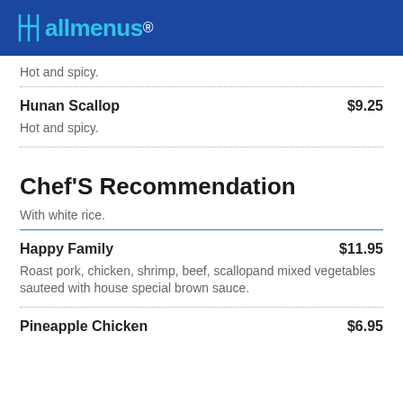allmenus
Hot and spicy.
Hunan Scallop $9.25
Hot and spicy.
Chef'S Recommendation
With white rice.
Happy Family $11.95
Roast pork, chicken, shrimp, beef, scallopand mixed vegetables sauteed with house special brown sauce.
Pineapple Chicken $6.95